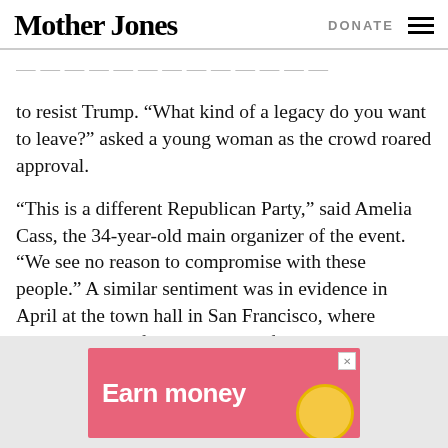Mother Jones  DONATE
to resist Trump. “What kind of a legacy do you want to leave?” asked a young woman as the crowd roared approval.
“This is a different Republican Party,” said Amelia Cass, the 34-year-old main organizer of the event. “We see no reason to compromise with these people.” A similar sentiment was in evidence in April at the town hall in San Francisco, where Feinstein herself took questions from enraged constituents.
[Figure (other): Advertisement banner with pink background showing 'Earn money' text and a coin graphic]